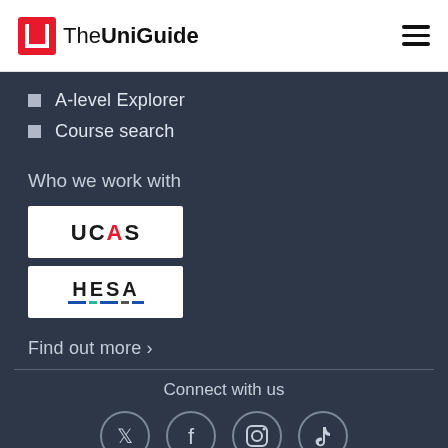TheUniGuide
A-level Explorer
Course search
Who we work with
[Figure (logo): UCAS logo in white box]
[Figure (logo): HESA logo in white box]
Find out more ›
Connect with us
[Figure (other): Social media icons: Twitter, Facebook, Instagram, TikTok in circles]